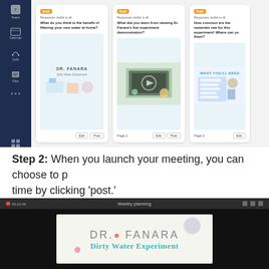[Figure (screenshot): Microsoft Teams interface showing three assignment cards with questions about a Dr. Fanara Dirty Water Experiment. Each card has a Draft badge, visibility note, a question prompt, an image thumbnail, and Edit/Post buttons. The sidebar shows Teams navigation icons on a dark blue background.]
Step 2: When you launch your meeting, you can choose to post at any time by clicking 'post.'
[Figure (screenshot): A video meeting screen showing a slide presentation of 'DR. FANARA Dirty Water Experiment' with a dark interface, recording indicator showing 00:22:06, meeting title 'Weekly planning', and control icons.]